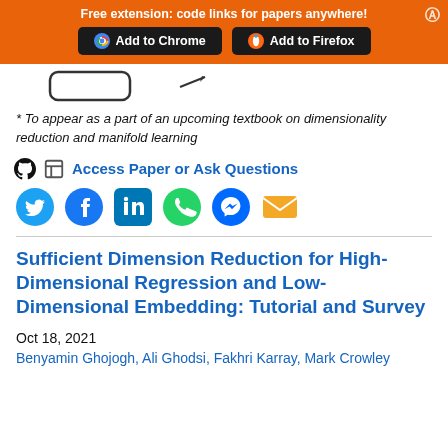Free extension: code links for papers anywhere!
[Figure (screenshot): Partial diagram showing a rounded rectangle shape and an arrow, cropped from a figure above]
* To appear as a part of an upcoming textbook on dimensionality reduction and manifold learning
Access Paper or Ask Questions
[Figure (infographic): Social sharing icons: Twitter, Facebook, LinkedIn, WhatsApp, Messenger, Email]
Sufficient Dimension Reduction for High-Dimensional Regression and Low-Dimensional Embedding: Tutorial and Survey
Oct 18, 2021
Benyamin Ghojogh, Ali Ghodsi, Fakhri Karray, Mark Crowley